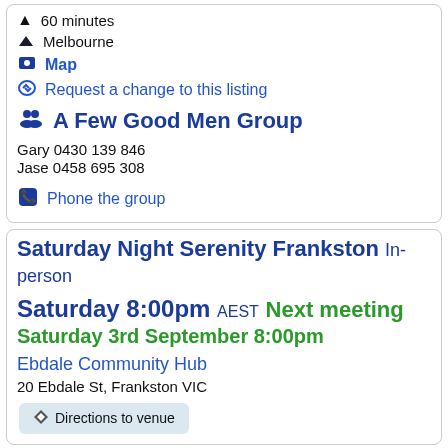60 minutes
Melbourne
Map
Request a change to this listing
A Few Good Men Group
Gary 0430 139 846
Jase 0458 695 308
Phone the group
Saturday Night Serenity Frankston In-person
Saturday 8:00pm AEST Next meeting Saturday 3rd September 8:00pm
Ebdale Community Hub
20 Ebdale St, Frankston VIC
Directions to venue